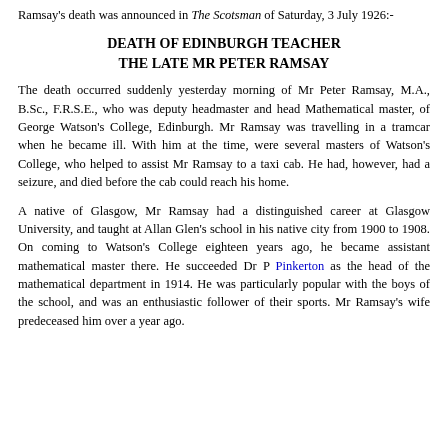Ramsay's death was announced in The Scotsman of Saturday, 3 July 1926:-
DEATH OF EDINBURGH TEACHER THE LATE MR PETER RAMSAY
The death occurred suddenly yesterday morning of Mr Peter Ramsay, M.A., B.Sc., F.R.S.E., who was deputy headmaster and head Mathematical master, of George Watson's College, Edinburgh. Mr Ramsay was travelling in a tramcar when he became ill. With him at the time, were several masters of Watson's College, who helped to assist Mr Ramsay to a taxi cab. He had, however, had a seizure, and died before the cab could reach his home.
A native of Glasgow, Mr Ramsay had a distinguished career at Glasgow University, and taught at Allan Glen's school in his native city from 1900 to 1908. On coming to Watson's College eighteen years ago, he became assistant mathematical master there. He succeeded Dr P Pinkerton as the head of the mathematical department in 1914. He was particularly popular with the boys of the school, and was an enthusiastic follower of their sports. Mr Ramsay's wife predeceased him over a year ago.